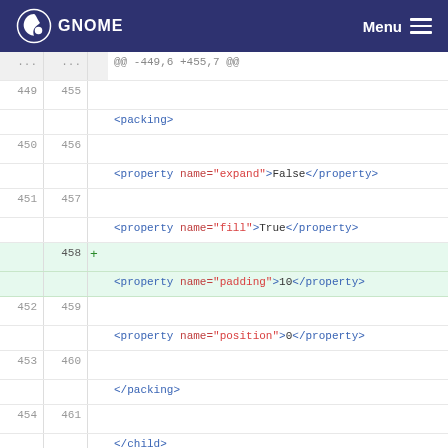GNOME — Menu
... ... @@ -449,6 +455,7 @@
449 455  <packing>
450 456  <property name="expand">False</property>
451 457  <property name="fill">True</property>
    458 + <property name="padding">10</property>
452 459  <property name="position">0</property>
453 460  </packing>
454 461  </child>
@@ -485,7 +492,7 @@